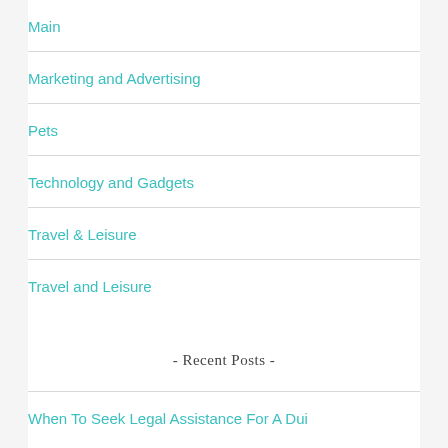Main
Marketing and Advertising
Pets
Technology and Gadgets
Travel & Leisure
Travel and Leisure
- Recent Posts -
When To Seek Legal Assistance For A Dui